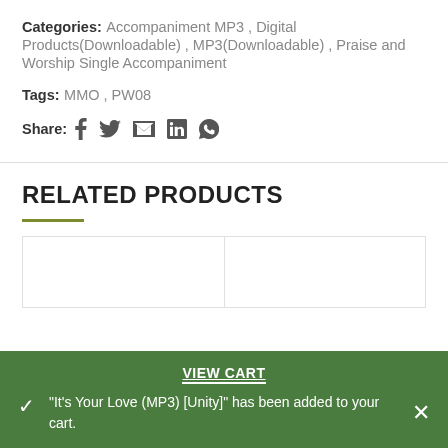Categories: Accompaniment MP3, Digital Products(Downloadable), MP3(Downloadable), Praise and Worship Single Accompaniment
Tags: MMO, PW08
Share: [Facebook] [Twitter] [Email] [LinkedIn] [WhatsApp]
RELATED PRODUCTS
[Figure (other): Two empty product card placeholders in a grid layout]
VIEW CART
"It's Your Love (MP3) [Unity]" has been added to your cart.